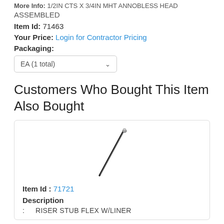More Info: 1/2IN CTS X 3/4IN MHT ANNOBLESS HEAD ASSEMBLED
Item Id: 71463
Your Price: Login for Contractor Pricing
Packaging:
EA (1 total)
Customers Who Bought This Item Also Bought
[Figure (photo): Product image of a riser stub flex with liner - a thin flexible tube or wire shown at a diagonal angle with a small connector at the top end.]
Item Id : 71721
Description
: RISER STUB FLEX W/LINER